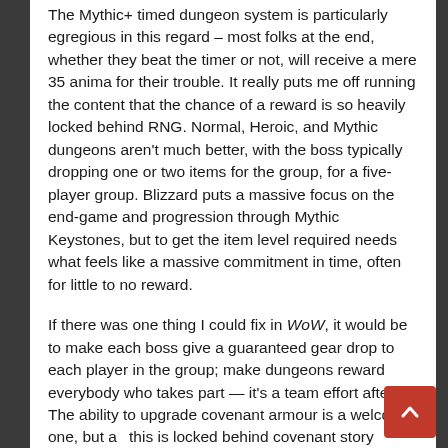The Mythic+ timed dungeon system is particularly egregious in this regard – most folks at the end, whether they beat the timer or not, will receive a mere 35 anima for their trouble. It really puts me off running the content that the chance of a reward is so heavily locked behind RNG. Normal, Heroic, and Mythic dungeons aren't much better, with the boss typically dropping one or two items for the group, for a five-player group. Blizzard puts a massive focus on the end-game and progression through Mythic Keystones, but to get the item level required needs what feels like a massive commitment in time, often for little to no reward.
If there was one thing I could fix in WoW, it would be to make each boss give a guaranteed gear drop to each player in the group; make dungeons reward everybody who takes part — it's a team effort after all. The ability to upgrade covenant armour is a welcome one, but as this is locked behind covenant story progression, it will